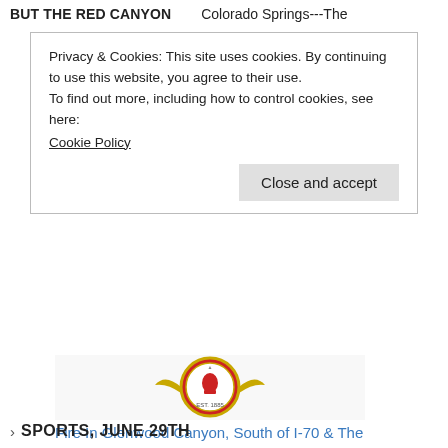BUT THE RED CANYON    Colorado Springs---The
Privacy & Cookies: This site uses cookies. By continuing to use this website, you agree to their use.
To find out more, including how to control cookies, see here:
Cookie Policy
Close and accept
[Figure (logo): Circular emblem/badge with red and gold colors, EST. 1885 text, fire department style logo]
Fire In Glenwood Canyon, South of I-70 & The Colorado River
May 10, 2022
In "News"
> SPORTS, JUNE 29TH